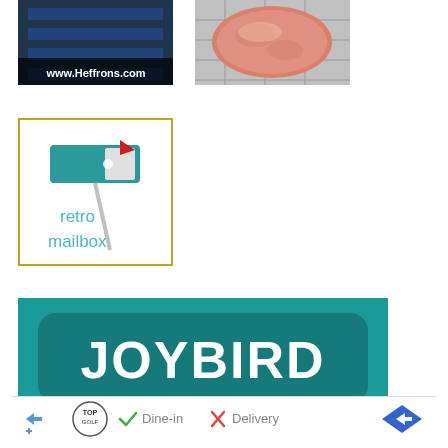[Figure (photo): Photo of what appears to be a dark-colored product or building material with the text 'www.Heffrons.com' overlaid at the bottom.]
[Figure (photo): Photo of a round pink/salmon-colored food item (possibly a burger patty or dessert) on a gridded surface.]
[Figure (photo): Advertisement image with an orange/gold border showing a retro teal-colored mailbox on a stand, with the text 'retro mailbox' in teal letters below the mailbox.]
[Figure (infographic): Joybird advertisement with teal background, large white 'JOYBIRD' text in the center, a darker teal rounded rectangle behind the text, and 'Timelessly Cool' in bold text at the bottom on a light teal/grey band.]
[Figure (infographic): Bottom banner ad: Topgolf logo on left, checkmark icon with 'Dine-in', X icon with 'Delivery', and a blue diamond navigation arrow on the right.]